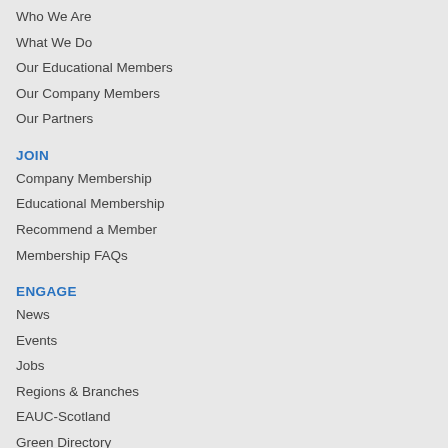Who We Are
What We Do
Our Educational Members
Our Company Members
Our Partners
JOIN
Company Membership
Educational Membership
Recommend a Member
Membership FAQs
ENGAGE
News
Events
Jobs
Regions & Branches
EAUC-Scotland
Green Directory
Global Alliance
Members Network